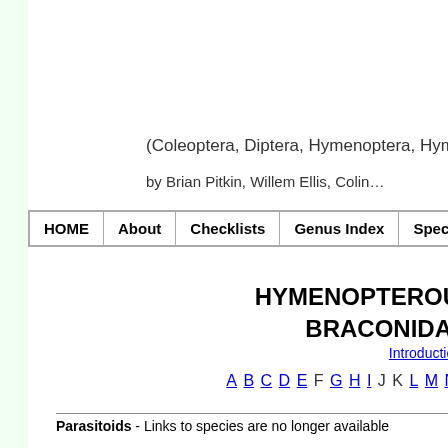(Coleoptera, Diptera, Hymenoptera…)
by Brian Pitkin, Willem Ellis, Colin…
| HOME | About | Checklists | Genus Index | Species Index |
| --- | --- | --- | --- | --- |
HYMENOPTEROUS BRACONIDA…
Introduction…
A B C D E F G H I J K L M N O…
Parasitoids - Links to species are no longer available   Mi…